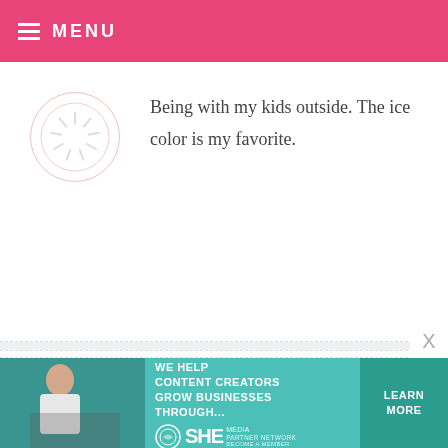MENU
Being with my kids outside. The ice color is my favorite.
KEISHA G — APRIL 27, 2015 @ 12:27 AM REPLY
my favorite outdoor activity is anything related to the beach! :-) thanks for the opportunity to win a mixer… White, please!
[Figure (infographic): SHE Media partner network advertisement banner: 'We help content creators grow businesses through...' with Learn More button]